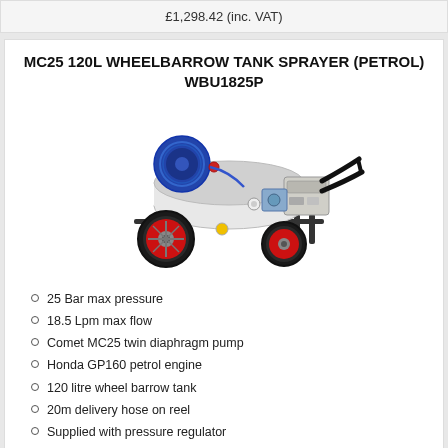£1,298.42 (inc. VAT)
MC25 120L WHEELBARROW TANK SPRAYER (PETROL) WBU1825P
[Figure (photo): MC25 120L Wheelbarrow Tank Sprayer (Petrol) - a petrol-engine sprayer unit mounted on a wheelbarrow frame with two wheels (red rims), a large white cylindrical tank, a blue hose reel, and black handles.]
25 Bar max pressure
18.5 Lpm max flow
Comet MC25 twin diaphragm pump
Honda GP160 petrol engine
120 litre wheel barrow tank
20m delivery hose on reel
Supplied with pressure regulator
Suction pipe & external filter
Spray lance with nozzle